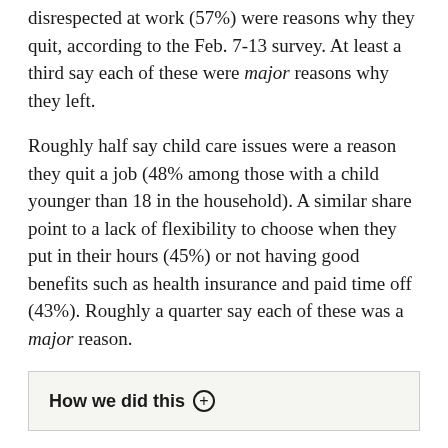disrespected at work (57%) were reasons why they quit, according to the Feb. 7-13 survey. At least a third say each of these were major reasons why they left.
Roughly half say child care issues were a reason they quit a job (48% among those with a child younger than 18 in the household). A similar share point to a lack of flexibility to choose when they put in their hours (45%) or not having good benefits such as health insurance and paid time off (43%). Roughly a quarter say each of these was a major reason.
How we did this ⊕
About four-in-ten adults who quit a job last year (39%) say a reason was that they were working too many hours, while three-in-ten cite working too few hours. About a third (35%) cite wanting to relocate to a different area, while relatively few (18%) cite their employer requiring a COVID-19 vaccine as a